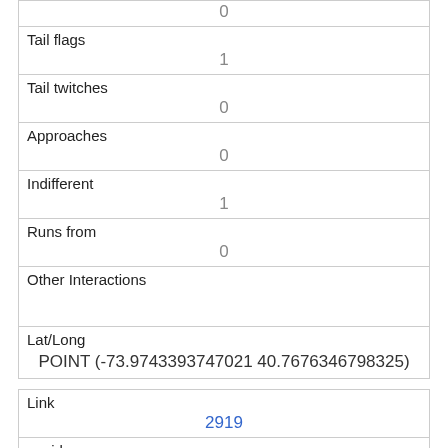| 0 |
| Tail flags | 1 |
| Tail twitches | 0 |
| Approaches | 0 |
| Indifferent | 1 |
| Runs from | 0 |
| Other Interactions |  |
| Lat/Long | POINT (-73.9743393747021 40.7676346798325) |
| Link | 2919 |
| rowid | 2919 |